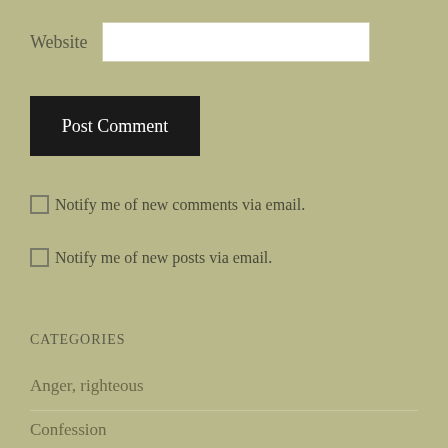Website
Post Comment
Notify me of new comments via email.
Notify me of new posts via email.
CATEGORIES
Anger, righteous
Confession